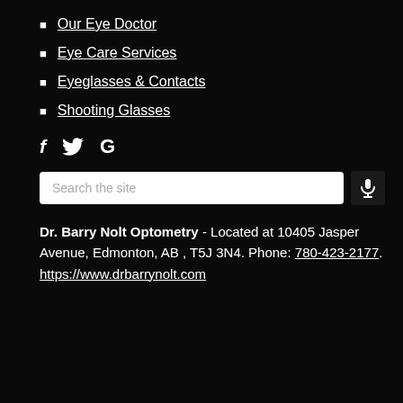Our Eye Doctor
Eye Care Services
Eyeglasses & Contacts
Shooting Glasses
[Figure (infographic): Social media icons: Facebook (f), Twitter (bird/T), Google (G)]
[Figure (infographic): Search input field with placeholder 'Search the site' and microphone icon button]
Dr. Barry Nolt Optometry - Located at 10405 Jasper Avenue, Edmonton, AB , T5J 3N4. Phone: 780-423-2177. https://www.drbarrynolt.com